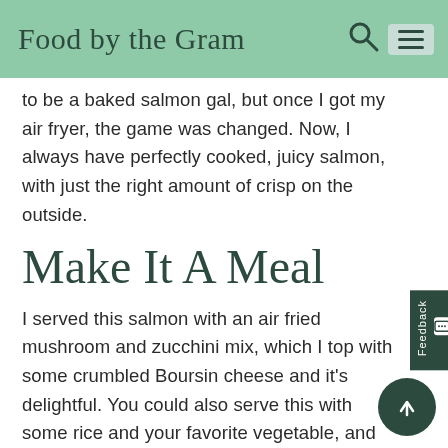Food by the Gram
to be a baked salmon gal, but once I got my air fryer, the game was changed. Now, I always have perfectly cooked, juicy salmon, with just the right amount of crisp on the outside.
Make It A Meal
I served this salmon with an air fried mushroom and zucchini mix, which I top with some crumbled Boursin cheese and it's delightful. You could also serve this with some rice and your favorite vegetable, and you've got a balanced, well-rounded mea… Lastly, you can throw this salmon over s… It's delicious hot or cold the next day, so it